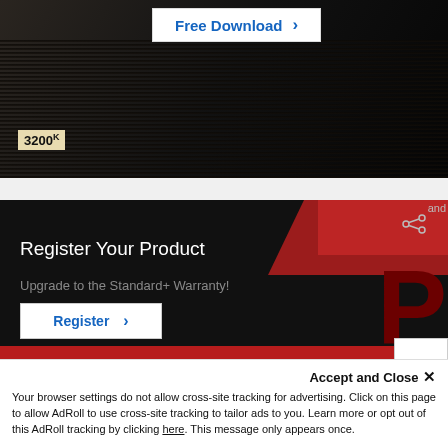[Figure (screenshot): Screenshot of a website showing a dark banner with a 'Free Download' button and an ISO 3200 label over a dark background image]
[Figure (screenshot): Dark banner with red graphic design elements showing 'Register Your Product' text, 'Upgrade to the Standard+ Warranty!' subtitle, and a Register button with share icon]
Accept and Close ×
Your browser settings do not allow cross-site tracking for advertising. Click on this page to allow AdRoll to use cross-site tracking to tailor ads to you. Learn more or opt out of this AdRoll tracking by clicking here. This message only appears once.